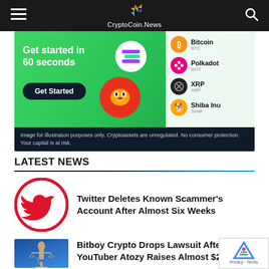CryptoCoin.News
[Figure (screenshot): Advertisement banner for a cryptocurrency exchange app showing 'Get started in 60 seconds' with a Get Started button, crypto coin icons (Solana, Shiba Inu), and a phone UI listing Bitcoin, Polkadot, XRP, Shiba Inu. Disclaimer: Image for illustration purposes only. Cryptoassets are unregulated. No consumer protection. Your capital is at risk.]
LATEST NEWS
[Figure (illustration): Twitter bird logo in red circle on white background]
Twitter Deletes Known Scammer's Account After Almost Six Weeks
[Figure (photo): Lady Justice statue holding scales and sword against blue background]
Bitboy Crypto Drops Lawsuit After YouTuber Atozy Raises Almost $200